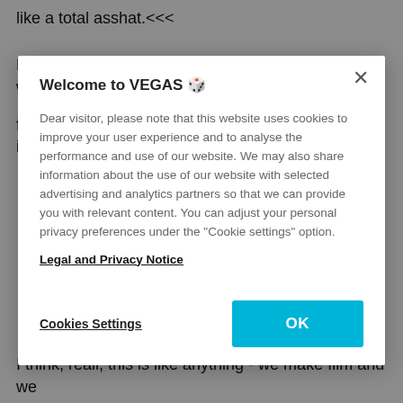like a total asshat.<<<
From a marketing point I agree with him 100%. See when I first heard of this it was nothing more than tagging - in
[Figure (screenshot): Cookie consent modal dialog box overlaying a web page. Title: 'Welcome to VEGAS 🎲'. Body text explaining cookie usage and analytics partners. Contains a 'Legal and Privacy Notice' link, a 'Cookies Settings' button (underlined), and a blue 'OK' button. A close (×) button is in the top right corner.]
I think, reall, this is like anything - we make film and we